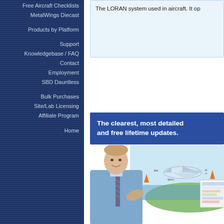Free Aircraft Checklists
MetalWings Diecast
Products by Platform
Support
Knowledgebase / FAQ
Contact
Employment
SBD Dauntless
Bulk Purchases
Site/Lab Licensing
Affiliate Program
Home
The LORAN system used in aircraft. It op
The clearest, most detailed and free lifetime updates.
[Figure (photo): A young man in a blue shirt and striped tie smiling and gesturing, with an aviation diagram showing an aircraft, orange arrows, and chart elements in the background.]